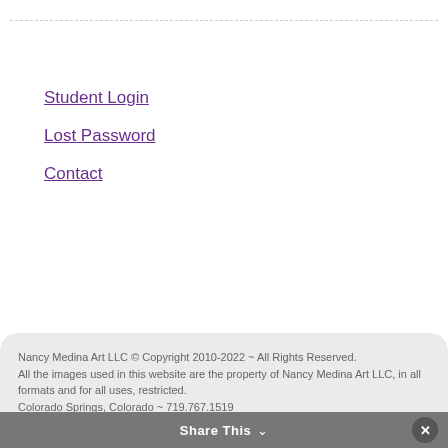Student Login
Lost Password
Contact
Nancy Medina Art LLC © Copyright 2010-2022 ~ All Rights Reserved.
All the images used in this website are the property of Nancy Medina Art LLC, in all formats and for all uses, restricted.
Colorado Springs, Colorado ~ 719.767.1519
Terms and Conditions ~ Privacy Policy ~ Website by RC Vane ~ Sketches for The Joyful Brush by Dominique Eichi
Share This